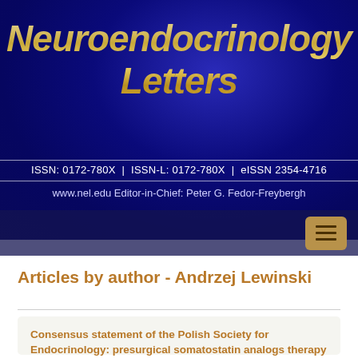Neuroendocrinology Letters
ISSN: 0172-780X | ISSN-L: 0172-780X | eISSN 2354-4716
www.nel.edu Editor-in-Chief: Peter G. Fedor-Freybergh
Articles by author - Andrzej Lewinski
Consensus statement of the Polish Society for Endocrinology: presurgical somatostatin analogs therapy in acromegaly.
Bolanowski M, Bar-Andziak E, Kos-Kudła B, Krzyzanowska-